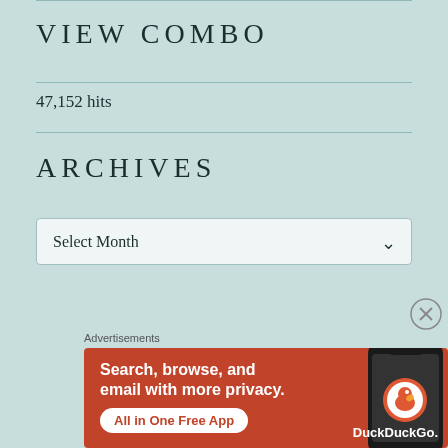VIEW COMBO
47,152 hits
ARCHIVES
Select Month
Advertisements
[Figure (illustration): DuckDuckGo advertisement banner: orange background with text 'Search, browse, and email with more privacy. All in One Free App' and a smartphone image with DuckDuckGo logo and branding.]